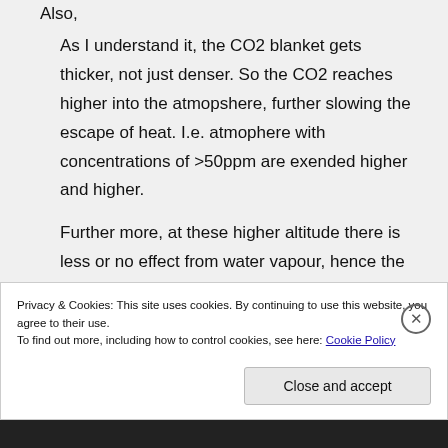Also,
As I understand it, the CO2 blanket gets thicker, not just denser. So the CO2 reaches higher into the atmopshere, further slowing the escape of heat. I.e. atmophere with concentrations of >50ppm are exended higher and higher.
Further more, at these higher altitude there is less or no effect from water vapour, hence the warming impact of CO2
Privacy & Cookies: This site uses cookies. By continuing to use this website, you agree to their use.
To find out more, including how to control cookies, see here: Cookie Policy
Close and accept